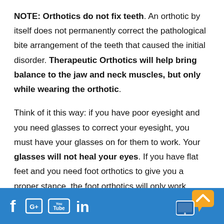NOTE: Orthotics do not fix teeth. An orthotic by itself does not permanently correct the pathological bite arrangement of the teeth that caused the initial disorder. Therapeutic Orthotics will help bring balance to the jaw and neck muscles, but only while wearing the orthotic.
Think of it this way: if you have poor eyesight and you need glasses to correct your eyesight, you must have your glasses on for them to work. Your glasses will not heal your eyes. If you have flat feet and you need foot orthotics to give you a proper stance, the foot orthotics will only work
Social media icons: Facebook, Google+, YouTube, LinkedIn | Chat/back-to-top button